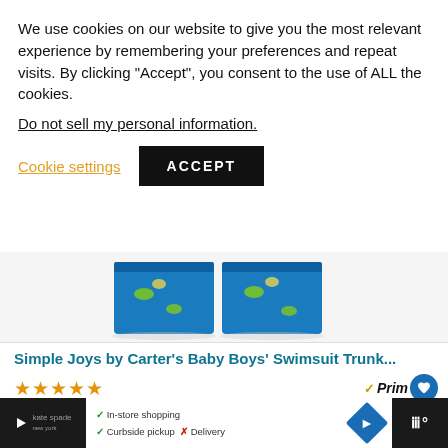We use cookies on our website to give you the most relevant experience by remembering your preferences and repeat visits. By clicking “Accept”, you consent to the use of ALL the cookies.
Do not sell my personal information.
Cookie settings
ACCEPT
[Figure (photo): Blue dinosaur print baby boys swimsuit trunk product image]
Simple Joys by Carter's Baby Boys' Swimsuit Trunk...
★★★★★ (5 stars) Prime $14.44
$15.99 (crossed out) $14.44
View Details
In-store shopping  ✓ Curbside pickup  ✗ Delivery